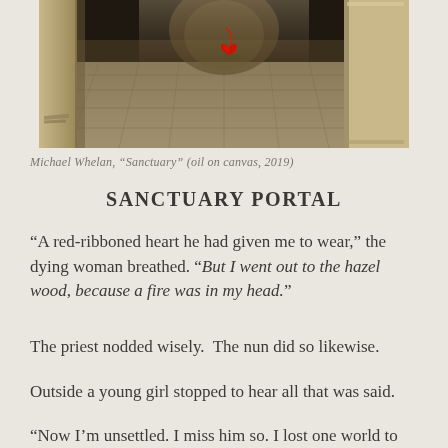[Figure (illustration): Painting showing a stone floor/sanctuary interior with a red-ribboned heart pendant lying on the ground, stone columns visible, dark atmospheric lighting. Oil painting by Michael Whelan.]
Michael Whelan, “Sanctuary” (oil on canvas, 2019)
SANCTUARY PORTAL
“A red-ribboned heart he had given me to wear,” the dying woman breathed. “But I went out to the hazel wood, because a fire was in my head.”
The priest nodded wisely. The nun did so likewise.
Outside a young girl stopped to hear all that was said.
“Now I’m unsettled. I miss him so. I lost one world to